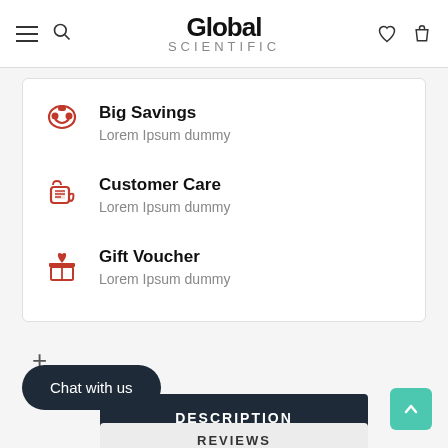Global SCIENTIFIC
Big Savings
Lorem Ipsum dummy
Customer Care
Lorem Ipsum dummy
Gift Voucher
Lorem Ipsum dummy
+
Chat with us
DESCRIPTION
REVIEWS